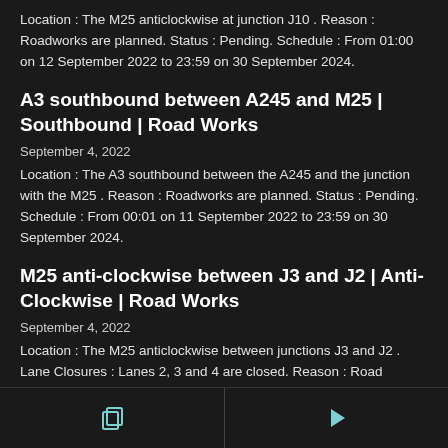Location : The M25 anticlockwise at junction J10 . Reason : Roadworks are planned. Status : Pending. Schedule : From 01:00 on 12 September 2022 to 23:59 on 30 September 2024.
A3 southbound between A245 and M25 | Southbound | Road Works
September 4, 2022
Location : The A3 southbound between the A245 and the junction with the M25 . Reason : Roadworks are planned. Status : Pending. Schedule : From 00:01 on 11 September 2022 to 23:59 on 30 September 2024.
M25 anti-clockwise between J3 and J2 | Anti-Clockwise | Road Works
September 4, 2022
Location : The M25 anticlockwise between junctions J3 and J2 . Lane Closures : Lanes 2, 3 and 4 are closed. Reason : Road repairs. Status : Currently Active. Period : expect disruption until 05:30 on 5 September 2022. Lanes Closed : There are